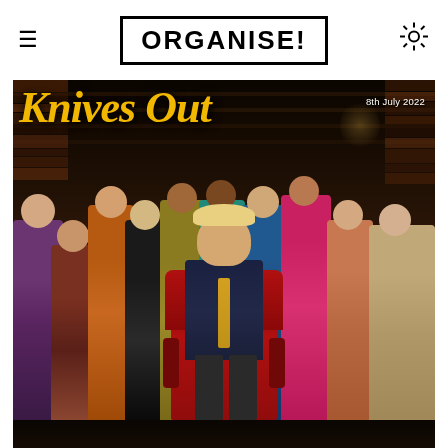ORGANISE!
[Figure (photo): A parody image styled after the 'Knives Out' movie poster, featuring the faces of UK politicians photoshopped onto the characters from the film, set in a dark library. Politicians include Boris Johnson seated in a red leather chair in the center, surrounded by various Conservative Party figures. The text 'Knives Out' appears in large yellow italic font at the top left, with the date '8th July 2022' at the top right.]